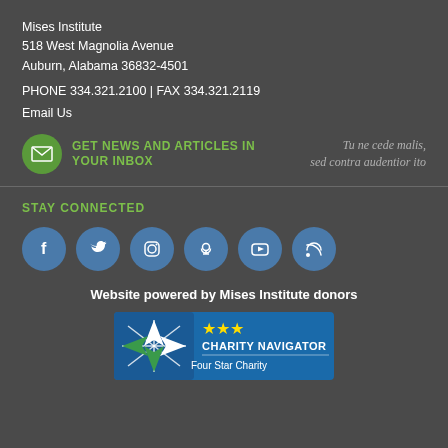Mises Institute
518 West Magnolia Avenue
Auburn, Alabama 36832-4501
PHONE 334.321.2100 | FAX 334.321.2119
Email Us
[Figure (infographic): Green circle with envelope icon next to green text 'GET NEWS AND ARTICLES IN YOUR INBOX', and italic gray Latin text 'Tu ne cede malis, sed contra audentior ito' on the right]
STAY CONNECTED
[Figure (infographic): Six blue circular social media icons: Facebook, Twitter, Instagram, Podcast, YouTube, RSS]
Website powered by Mises Institute donors
[Figure (logo): Charity Navigator four-star charity badge with blue background, compass rose logo, three yellow stars, and text 'CHARITY NAVIGATOR Four Star Charity']